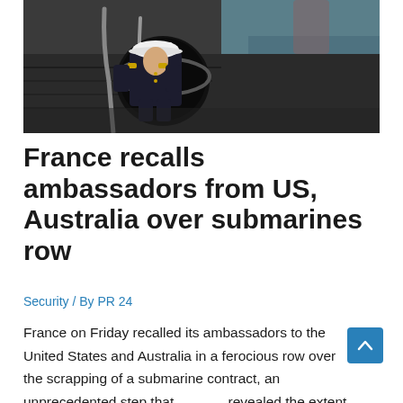[Figure (photo): A naval officer in white dress uniform cap and dark uniform climbing out of a submarine hatch, with the submarine deck and water visible]
France recalls ambassadors from US, Australia over submarines row
Security / By PR 24
France on Friday recalled its ambassadors to the United States and Australia in a ferocious row over the scrapping of a submarine contract, an unprecedented step that revealed the extent of French anger against its allies.